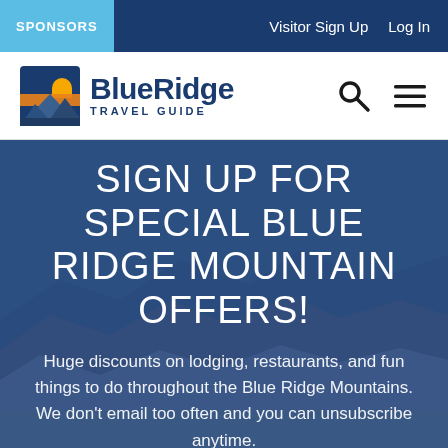SPONSORS   Visitor Sign Up   Log In
[Figure (logo): BlueRidge Travel Guide logo with mountain/sunset icon]
SIGN UP FOR SPECIAL BLUE RIDGE MOUNTAIN OFFERS!
Huge discounts on lodging, restaurants, and fun things to do throughout the Blue Ridge Mountains. We don't email too often and you can unsubscribe anytime.